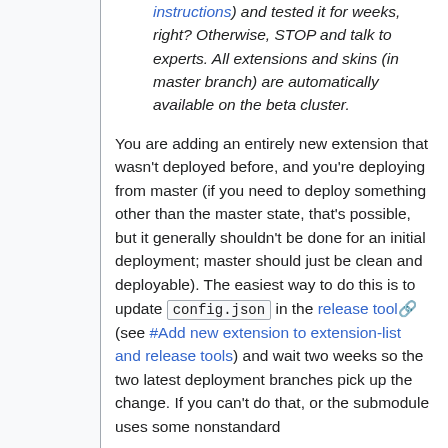instructions) and tested it for weeks, right? Otherwise, STOP and talk to experts. All extensions and skins (in master branch) are automatically available on the beta cluster.
You are adding an entirely new extension that wasn't deployed before, and you're deploying from master (if you need to deploy something other than the master state, that's possible, but it generally shouldn't be done for an initial deployment; master should just be clean and deployable). The easiest way to do this is to update config.json in the release tool (see #Add new extension to extension-list and release tools) and wait two weeks so the two latest deployment branches pick up the change. If you can't do that, or the submodule uses some nonstandard